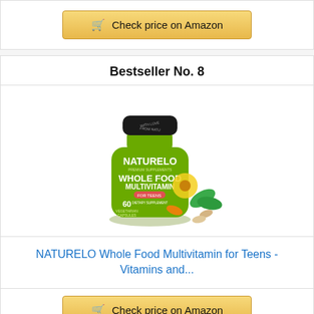[Figure (other): Check price on Amazon button (top)]
Bestseller No. 8
[Figure (photo): NATURELO Whole Food Multivitamin for Teens product bottle, green with 60 vegetarian capsules, surrounded by vegetables and herbs]
NATURELO Whole Food Multivitamin for Teens - Vitamins and...
[Figure (other): Check price on Amazon button (bottom)]